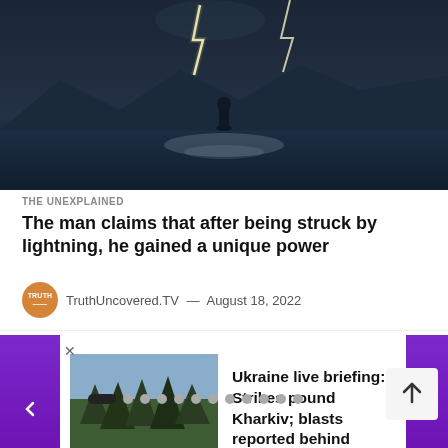[Figure (photo): Dark atmospheric photo of a silhouetted person standing on a lakeshore with lightning in the sky and mountains in the background]
THE UNEXPLAINED
The man claims that after being struck by lightning, he gained a unique power
TruthUncovered.TV — August 18, 2022
[Figure (photo): Photo of a forest/rocky landscape, thumbnail for Ukraine briefing article]
Ukraine live briefing: Strikes pound Kharkiv; blasts reported behind Russian lines
Pagination dots indicator